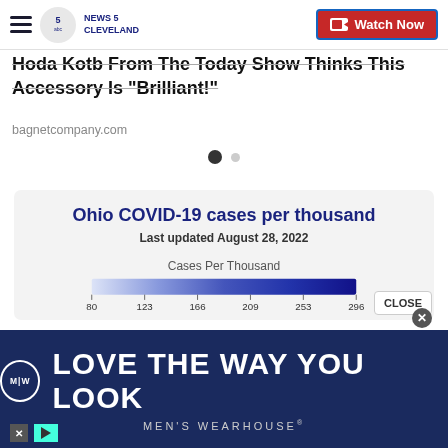NEWS 5 CLEVELAND | Watch Now
Hoda Kotb From The Today Show Thinks This Accessory Is "Brilliant!"
bagnetcompany.com
[Figure (infographic): Ohio COVID-19 cases per thousand color scale legend. Last updated August 28, 2022. Gradient bar from light to dark blue labeled with values: 80, 123, 166, 209, 253, 296. Label: Cases Per Thousand.]
[Figure (advertisement): Men's Wearhouse banner ad: LOVE THE WAY YOU LOOK]